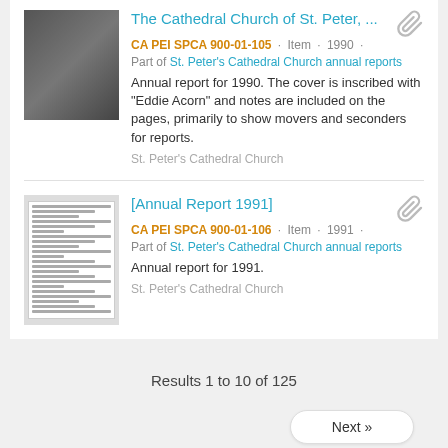The Cathedral Church of St. Peter, ... CA PEI SPCA 900-01-105 · Item · 1990 · Part of St. Peter's Cathedral Church annual reports. Annual report for 1990. The cover is inscribed with "Eddie Acorn" and notes are included on the pages, primarily to show movers and seconders for reports. St. Peter's Cathedral Church
[Annual Report 1991] CA PEI SPCA 900-01-106 · Item · 1991 · Part of St. Peter's Cathedral Church annual reports. Annual report for 1991. St. Peter's Cathedral Church
Results 1 to 10 of 125
Next »